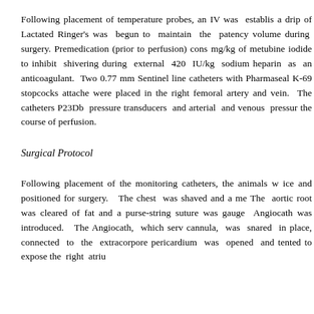Following placement of temperature probes, an IV was established, a drip of Lactated Ringer's was begun to maintain the patency of volume during surgery. Premedication (prior to perfusion) consisted of mg/kg of metubine iodide to inhibit shivering during external cooling, 420 IU/kg sodium heparin as an anticoagulant. Two 0.77 mm Sentinel line catheters with Pharmaseal K-69 stopcocks attached were placed in the right femoral artery and vein. The catheters were connected to P23Db pressure transducers and arterial and venous pressures monitored throughout the course of perfusion.
Surgical Protocol
Following placement of the monitoring catheters, the animals were packed in ice and positioned for surgery. The chest was shaved and a median sternotomy performed. The aortic root was cleared of fat and a purse-string suture was placed. A 16-gauge Angiocath was introduced. The Angiocath, which served as the aortic cannula, was snared in place, connected to the extracorporeal circuit. The pericardium was opened and tented to expose the right atrium.